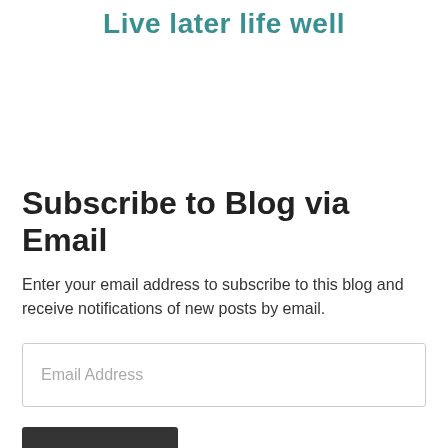Live later life well
Subscribe to Blog via Email
Enter your email address to subscribe to this blog and receive notifications of new posts by email.
Email Address
Subscribe